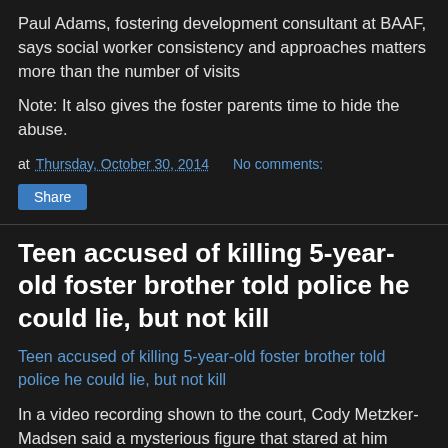Paul Adams, fostering development consultant at BAAF, says social worker consistency and approaches matters more than the number of visits
Note: It also gives the foster parents time to hide the abuse.
at Thursday, October 30, 2014   No comments:
Share
Teen accused of killing 5-year-old foster brother told police he could lie, but not kill
Teen accused of killing 5-year-old foster brother told police he could lie, but not kill
In a video recording shown to the court, Cody Metzker-Madsen said a mysterious figure that stared at him would sometimes appear near the wooded area surrounding his